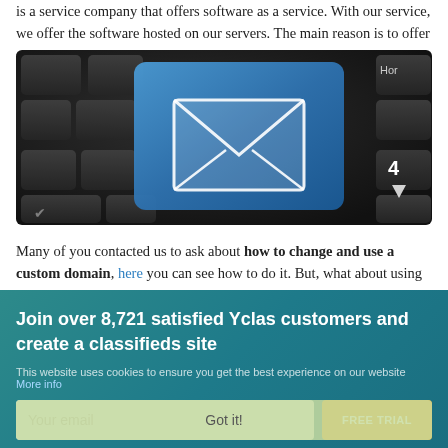is a service company that offers software as a service. With our service, we offer the software hosted on our servers. The main reason is to offer the fastest solution for our users and the best performance for your site.
[Figure (photo): Close-up photo of a dark computer keyboard with a prominent blue key featuring a white envelope/email icon. A partial key labeled 'Hor' is visible in the top right, and a key with '4' is visible in the bottom right.]
Many of you contacted us to ask about how to change and use a custom domain, here you can see how to do it. But, what about using the...
Join over 8,721 satisfied Yclas customers and create a classifieds site
This website uses cookies to ensure you get the best experience on our website More info
Your email
FREE TRIAL
Got it!